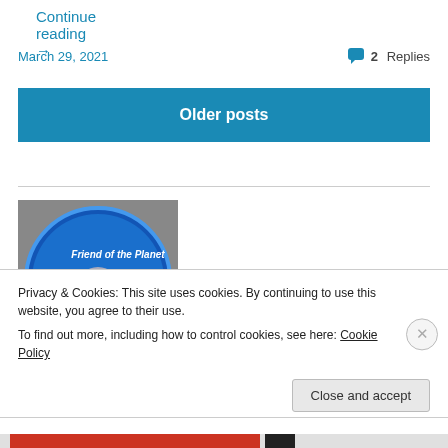Continue reading →
March 29, 2021
2 Replies
Older posts
[Figure (photo): A circular blue glass award plaque reading 'Friend of the Planet' with 'National Center for Science Education' text and a tree/snowflake design, displayed against a gray background.]
Privacy & Cookies: This site uses cookies. By continuing to use this website, you agree to their use.
To find out more, including how to control cookies, see here: Cookie Policy
Close and accept